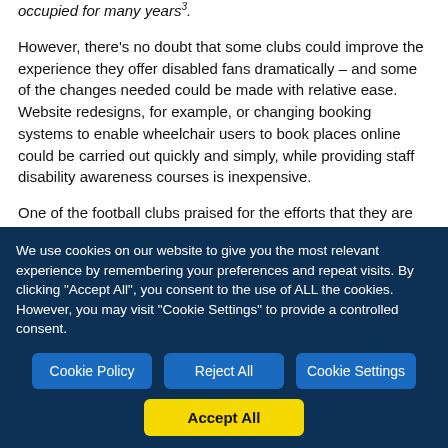occupied for many years .
However, there's no doubt that some clubs could improve the experience they offer disabled fans dramatically – and some of the changes needed could be made with relative ease. Website redesigns, for example, or changing booking systems to enable wheelchair users to book places online could be carried out quickly and simply, while providing staff disability awareness courses is inexpensive.
One of the football clubs praised for the efforts that they are making to cater for disabled fans is Wrexham AFC. The National League club installed the first of three planned viewing platforms for wheelchair users at the Racecourse
We use cookies on our website to give you the most relevant experience by remembering your preferences and repeat visits. By clicking "Accept All", you consent to the use of ALL the cookies. However, you may visit "Cookie Settings" to provide a controlled consent.